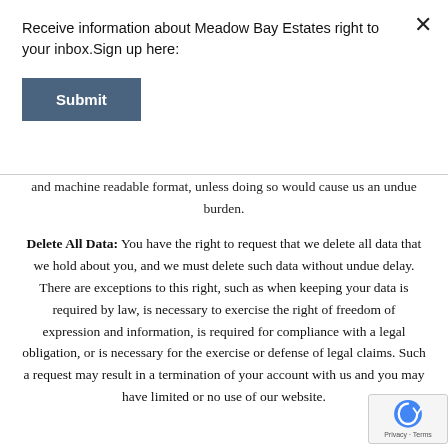Receive information about Meadow Bay Estates right to your inbox.Sign up here:
Submit
and machine readable format, unless doing so would cause us an undue burden.
Delete All Data: You have the right to request that we delete all data that we hold about you, and we must delete such data without undue delay. There are exceptions to this right, such as when keeping your data is required by law, is necessary to exercise the right of freedom of expression and information, is required for compliance with a legal obligation, or is necessary for the exercise or defense of legal claims. Such a request may result in a termination of your account with us and you may have limited or no use of our website.